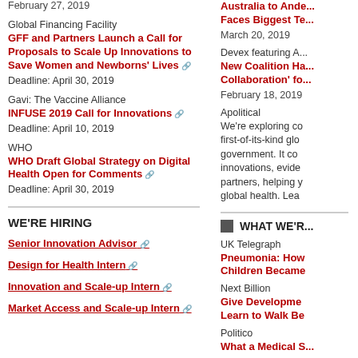February 27, 2019
Global Financing Facility
GFF and Partners Launch a Call for Proposals to Scale Up Innovations to Save Women and Newborns' Lives
Deadline: April 30, 2019
Gavi: The Vaccine Alliance
INFUSE 2019 Call for Innovations
Deadline: April 10, 2019
WHO
WHO Draft Global Strategy on Digital Health Open for Comments
Deadline: April 30, 2019
WE'RE HIRING
Senior Innovation Advisor
Design for Health Intern
Innovation and Scale-up Intern
Market Access and Scale-up Intern
Australia to Ande... Faces Biggest Te...
March 20, 2019
Devex featuring A...
New Coalition Ha... Collaboration' fo...
February 18, 2019
Apolitical
We're exploring co first-of-its-kind glo government. It co innovations, evide partners, helping y global health. Lea
WHAT WE'R...
UK Telegraph
Pneumonia: How Children Became
Next Billion
Give Developme Learn to Walk Be
Politico
What a Medical S...